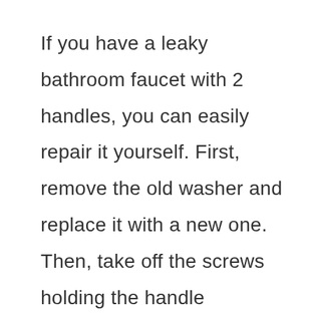If you have a leaky bathroom faucet with 2 handles, you can easily repair it yourself. First, remove the old washer and replace it with a new one. Then, take off the screws holding the handle assembly together. Next, unscrew the handle from the spout. Finally, put the new washer and screw back into place.